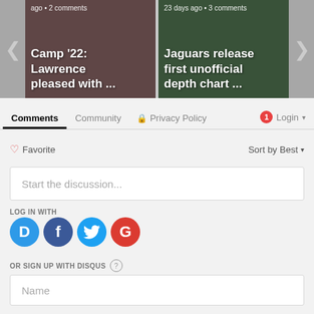[Figure (screenshot): Carousel showing two news article cards: left card 'Camp '22: Lawrence pleased with ...' and right card 'Jaguars release first unofficial depth chart ...' with navigation arrows on sides]
Comments  Community  Privacy Policy  Login
Favorite  Sort by Best
Start the discussion...
LOG IN WITH
OR SIGN UP WITH DISQUS ?
Name